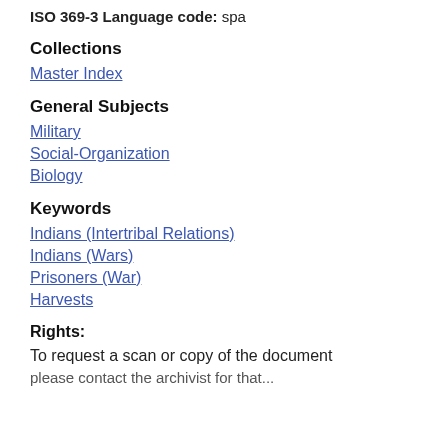ISO 369-3 Language code: spa
Collections
Master Index
General Subjects
Military
Social-Organization
Biology
Keywords
Indians (Intertribal Relations)
Indians (Wars)
Prisoners (War)
Harvests
Rights:
To request a scan or copy of the document please contact the archivist for that...